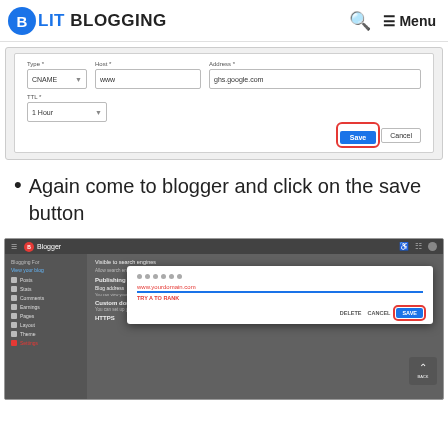BLIT BLOGGING  🔍  ≡ Menu
[Figure (screenshot): DNS CNAME record form with fields: Type=CNAME, Host=www, Address=ghs.google.com, TTL=1 Hour, with Save (highlighted in red) and Cancel buttons]
Again come to blogger and click on the save button
[Figure (screenshot): Blogger dashboard screenshot showing Publishing settings with a modal dialog open. The modal has dot indicators, a text input with red error text, a TRY A TO RANK error message, and DELETE, CANCEL, SAVE buttons with SAVE highlighted in red]